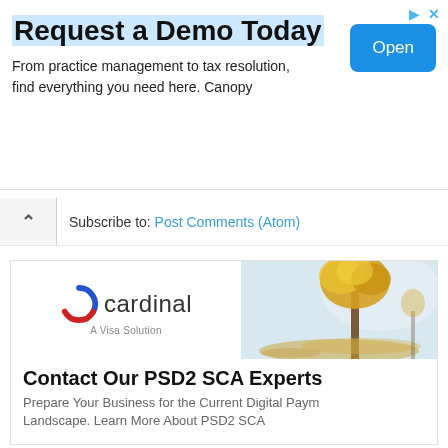Request a Demo Today
From practice management to tax resolution, find everything you need here. Canopy
Subscribe to: Post Comments (Atom)
[Figure (illustration): Cardinal A Visa Solution logo with autumn park background image]
Contact Our PSD2 SCA Experts
Prepare Your Business for the Current Digital Payment Landscape. Learn More About PSD2 SCA